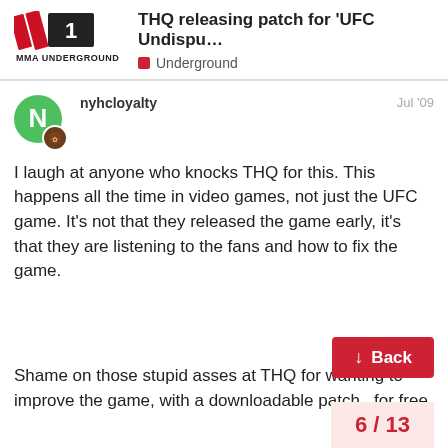THQ releasing patch for 'UFC Undispu... | Underground
I laugh at anyone who knocks THQ for this. This happens all the time in video games, not just the UFC game. It's not that they released the game early, it's that they are listening to the fans and how to fix the game.
Shame on those stupid asses at THQ for wanting to improve the game, with a downloadable patch.. for free.